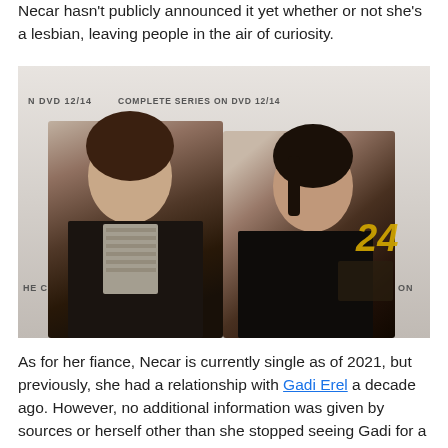Necar hasn't publicly announced it yet whether or not she's a lesbian, leaving people in the air of curiosity.
[Figure (photo): A man and a woman posing together in front of a DVD promotional backdrop that reads 'Complete Series on DVD 12/14'. Both are wearing black leather jackets. The man has curly dark hair and a patterned scarf. The woman has dark hair pulled back. A '24' logo is visible in the background.]
As for her fiance, Necar is currently single as of 2021, but previously, she had a relationship with Gadi Erel a decade ago. However, no additional information was given by sources or herself other than she stopped seeing Gadi for a long time